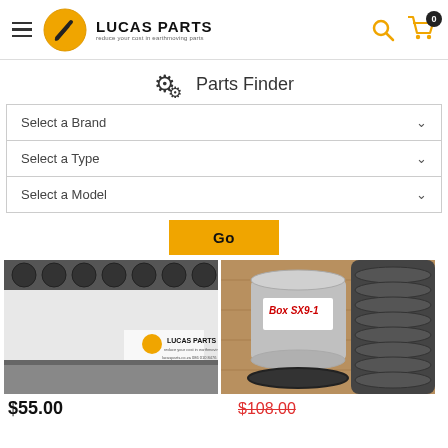Lucas Parts — reduce your cost in earthmoving parts
Parts Finder
Select a Brand
Select a Type
Select a Model
Go
[Figure (photo): Product image showing earthmoving track rollers/pads with Lucas Parts logo watermark]
[Figure (photo): Product image showing a metal cylindrical part with handwritten label 'Box SX9-1' with rubber components]
$55.00
$108.00